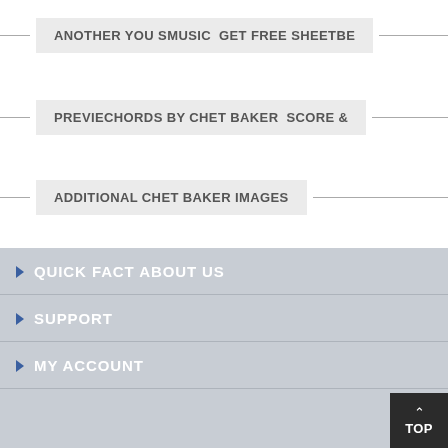ANOTHER YOU SMUSIC  GET FREE SHEETBE
PREVIECHORDS BY CHET BAKER  SCORE &
ADDITIONAL CHET BAKER IMAGES
QUICK FACT ABOUT US
SUPPORT
MY ACCOUNT